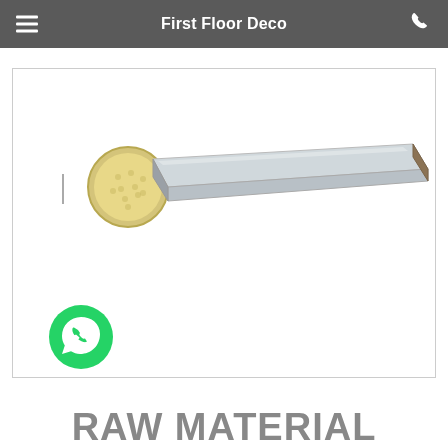First Floor Deco
[Figure (photo): Product image of a flooring trim or transition strip shown in cross-section with a coin for scale, silver/metallic profile with wood-look edge, displayed against white background]
RAW MATERIAL